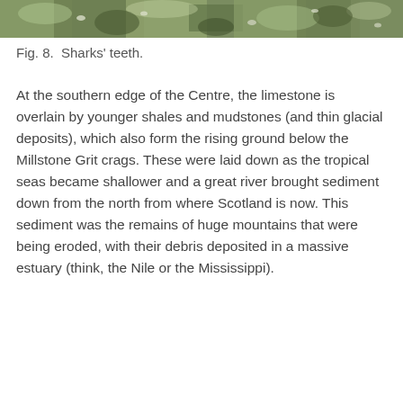[Figure (photo): Close-up photograph of sharks' teeth, showing textured rocky or fossilized surface with green and grey tones.]
Fig. 8.  Sharks' teeth.
At the southern edge of the Centre, the limestone is overlain by younger shales and mudstones (and thin glacial deposits), which also form the rising ground below the Millstone Grit crags. These were laid down as the tropical seas became shallower and a great river brought sediment down from the north from where Scotland is now. This sediment was the remains of huge mountains that were being eroded, with their debris deposited in a massive estuary (think, the Nile or the Mississippi).